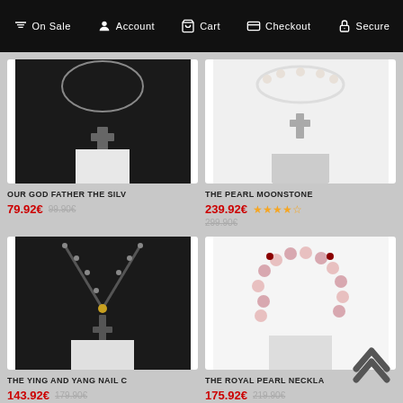On Sale | Account | Cart | Checkout | Secure
[Figure (photo): Necklace with cross pendant on dark background - OUR GOD FATHER THE SILV]
OUR GOD FATHER THE SILV
79.92€ 99.90€
[Figure (photo): Pearl necklace with cross pendant - THE PEARL MOONSTONE]
THE PEARL MOONSTONE
239.92€ ★★★★☆ 299.90€
[Figure (photo): Dark beaded necklace with cross - THE YING AND YANG NAIL C]
THE YING AND YANG NAIL C
143.92€ 179.90€
[Figure (photo): Pink pearl necklace - THE ROYAL PEARL NECKLA]
THE ROYAL PEARL NECKLA
175.92€ 219.90€